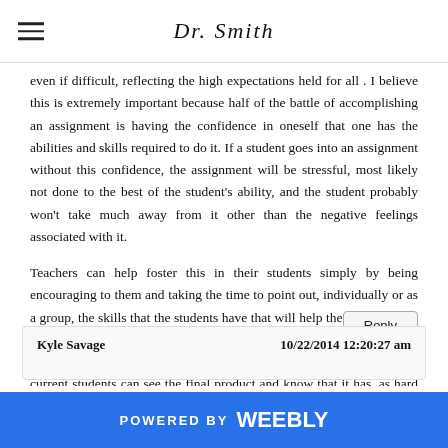Dr. Smith
even if difficult, reflecting the high expectations held for all . I believe this is extremely important because half of the battle of accomplishing an assignment is having the confidence in oneself that one has the abilities and skills required to do it. If a student goes into an assignment without this confidence, the assignment will be stressful, most likely not done to the best of the student's ability, and the student probably won't take much away from it other than the negative feelings associated with it.
Teachers can help foster this in their students simply by being encouraging to them and taking the time to point out, individually or as a group, the skills that the students have that will help them accomplish the assignment. Another way to help address that the assignment can be done is by showing examples of past students' works - this way, the current students can see the final product and know that it has, as hard as it may seem to them to believe, been done before.
Reply
Kyle Savage     10/22/2014 12:20:27 am
POWERED BY weebly